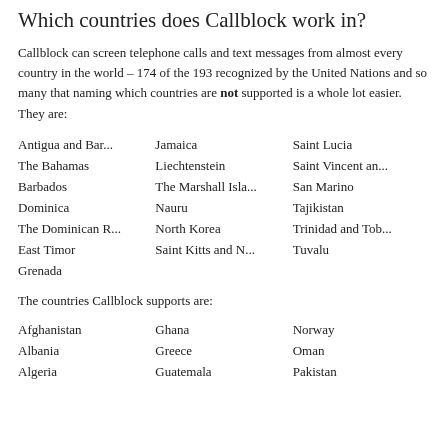Which countries does Callblock work in?
Callblock can screen telephone calls and text messages from almost every country in the world – 174 of the 193 recognized by the United Nations and so many that naming which countries are not supported is a whole lot easier. They are:
Antigua and Bar...
Jamaica
Saint Lucia
The Bahamas
Liechtenstein
Saint Vincent an...
Barbados
The Marshall Isla...
San Marino
Dominica
Nauru
Tajikistan
The Dominican R...
North Korea
Trinidad and Tob...
East Timor
Saint Kitts and N...
Tuvalu
Grenada
The countries Callblock supports are:
Afghanistan
Ghana
Norway
Albania
Greece
Oman
Algeria
Guatemala
Pakistan